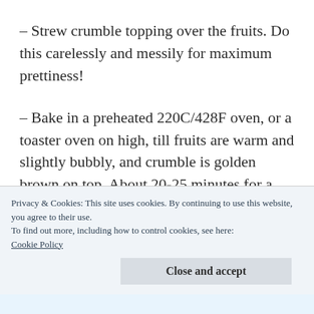– Strew crumble topping over the fruits. Do this carelessly and messily for maximum prettiness!
– Bake in a preheated 220C/428F oven, or a toaster oven on high, till fruits are warm and slightly bubbly, and crumble is golden brown on top. About 20-25 minutes for a large
Privacy & Cookies: This site uses cookies. By continuing to use this website, you agree to their use.
To find out more, including how to control cookies, see here: Cookie Policy
Close and accept